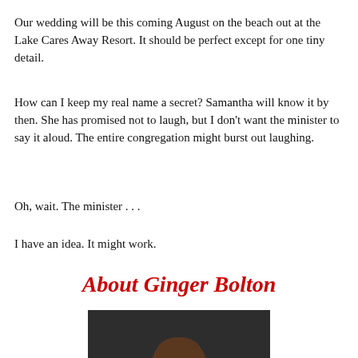Our wedding will be this coming August on the beach out at the Lake Cares Away Resort. It should be perfect except for one tiny detail.
How can I keep my real name a secret? Samantha will know it by then. She has promised not to laugh, but I don't want the minister to say it aloud. The entire congregation might burst out laughing.
Oh, wait. The minister . . .
I have an idea. It might work.
About Ginger Bolton
[Figure (photo): Portrait photo of a woman with shoulder-length brown hair and glasses, smiling, against a dark background]